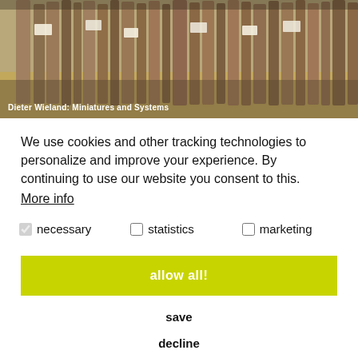[Figure (photo): Wooden fence posts or stakes driven into straw/hay ground, some with small labels attached. Background shows a rustic outdoor scene.]
Dieter Wieland: Miniatures and Systems
We use cookies and other tracking technologies to personalize and improve your experience. By continuing to use our website you consent to this.
More info
necessary   statistics   marketing
allow all!
save
decline